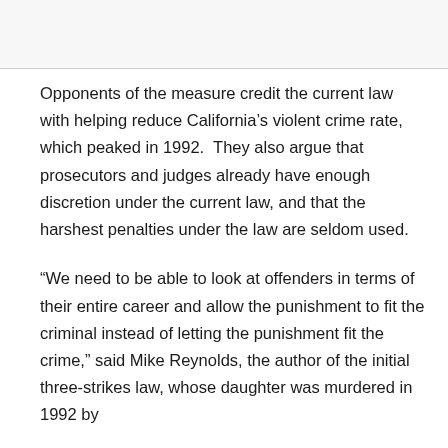Opponents of the measure credit the current law with helping reduce California's violent crime rate, which peaked in 1992.  They also argue that prosecutors and judges already have enough discretion under the current law, and that the harshest penalties under the law are seldom used.
“We need to be able to look at offenders in terms of their entire career and allow the punishment to fit the criminal instead of letting the punishment fit the crime,” said Mike Reynolds, the author of the initial three-strikes law, whose daughter was murdered in 1992 by